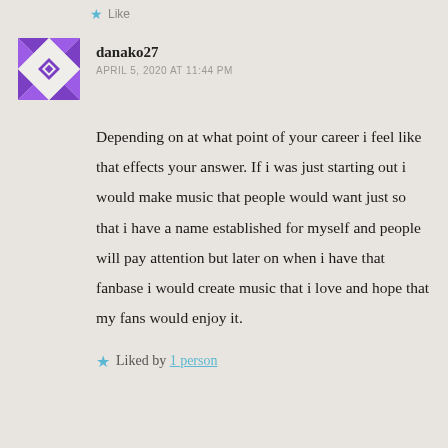Like
[Figure (illustration): WordPress-style geometric avatar for user danako27, purple and white geometric/quilt pattern on square background]
danako27
APRIL 5, 2020 AT 11:44 PM
Depending on at what point of your career i feel like that effects your answer. If i was just starting out i would make music that people would want just so that i have a name established for myself and people will pay attention but later on when i have that fanbase i would create music that i love and hope that my fans would enjoy it.
Liked by 1 person